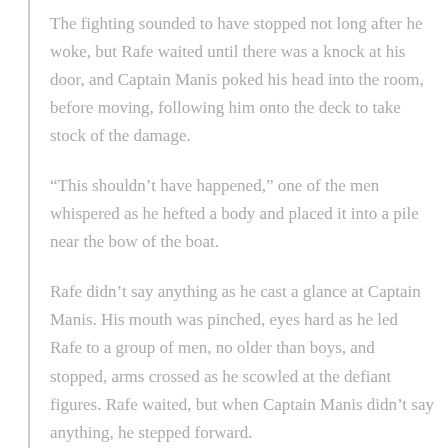The fighting sounded to have stopped not long after he woke, but Rafe waited until there was a knock at his door, and Captain Manis poked his head into the room, before moving, following him onto the deck to take stock of the damage.
“This shouldn’t have happened,” one of the men whispered as he hefted a body and placed it into a pile near the bow of the boat.
Rafe didn’t say anything as he cast a glance at Captain Manis. His mouth was pinched, eyes hard as he led Rafe to a group of men, no older than boys, and stopped, arms crossed as he scowled at the defiant figures. Rafe waited, but when Captain Manis didn’t say anything, he stepped forward.